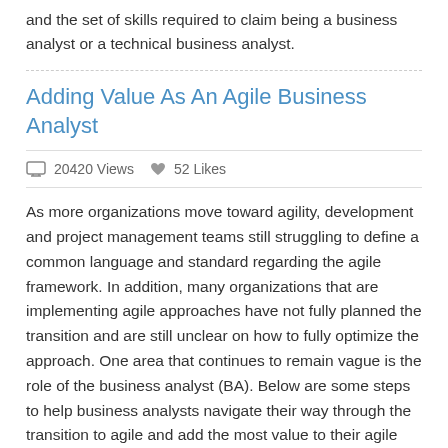and the set of skills required to claim being a business analyst or a technical business analyst.
Adding Value As An Agile Business Analyst
20420 Views  52 Likes
As more organizations move toward agility, development and project management teams still struggling to define a common language and standard regarding the agile framework. In addition, many organizations that are implementing agile approaches have not fully planned the transition and are still unclear on how to fully optimize the approach. One area that continues to remain vague is the role of the business analyst (BA). Below are some steps to help business analysts navigate their way through the transition to agile and add the most value to their agile teams.
Are You An ‘Analyst’ Or A ‘Facilitator’?